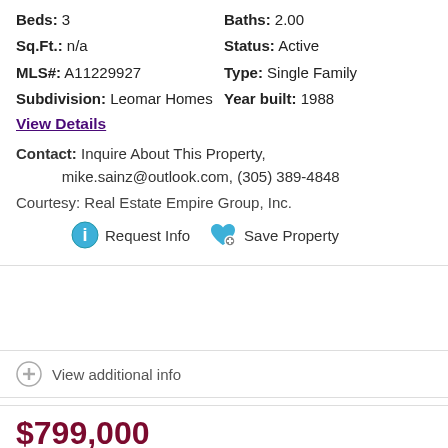Beds: 3
Baths: 2.00
Sq.Ft.: n/a
Status: Active
MLS#: A11229927
Type: Single Family
Subdivision: Leomar Homes
Year built: 1988
View Details
Contact: Inquire About This Property, mike.sainz@outlook.com, (305) 389-4848
Courtesy: Real Estate Empire Group, Inc.
Request Info
Save Property
View additional info
$799,000
Address Not Available Miami, FL 33182
[Figure (photo): Blue sky with power lines and a street light]